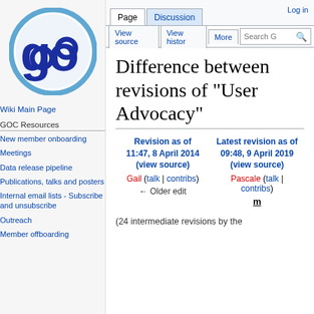[Figure (logo): GOC (Gene Ontology Consortium) circular logo with blue border and dark blue 'go' letters with chain-link style]
Wiki Main Page
GOC Resources
New member onboarding
Meetings
Data release pipeline
Publications, talks and posters
Internal email lists - Subscribe and unsubscribe
Outreach
Member offboarding
Log in
Difference between revisions of "User Advocacy"
| Revision as of 11:47, 8 April 2014 (view source) | Latest revision as of 09:48, 9 April 2019 (view source) |
| --- | --- |
| Gail (talk | contribs) | Pascale (talk | contribs) |
| ← Older edit | m |
(24 intermediate revisions by the